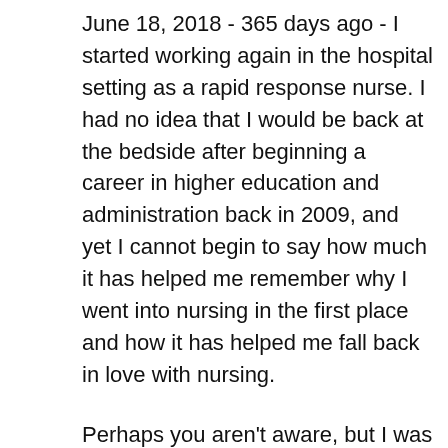June 18, 2018 - 365 days ago - I started working again in the hospital setting as a rapid response nurse. I had no idea that I would be back at the bedside after beginning a career in higher education and administration back in 2009, and yet I cannot begin to say how much it has helped me remember why I went into nursing in the first place and how it has helped me fall back in love with nursing.
Perhaps you aren't aware, but I was fired in April 2018 in a way that was both surprising and yet not as I look back on that time today. If I am honest with myself, I knew it was time to go long before it happened, but I had decided to give it my best and re-engage rather than leave. Regardless,